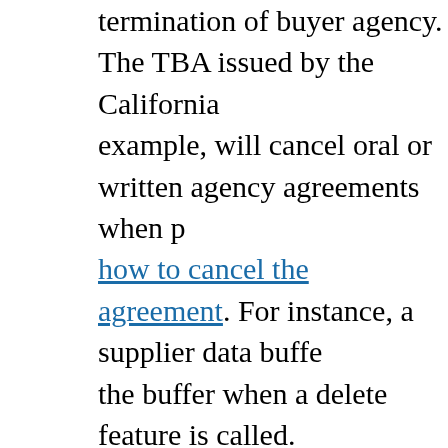termination of buyer agency. The TBA issued by the California example, will cancel oral or written agency agreements when p how to cancel the agreement. For instance, a supplier data buffe the buffer when a delete feature is called. Subsequently, the sup when a delete feature finishes its work, the data item will, indee design contracts are concepts of class invariant. The class invari that the state of the class will be maintained within specified tol execution. The terms of a concession agreement depend in large example, a contract to operate a food concession in a popular st concessionaire in the way of incentives. On the other hand, a go companies to an impoverished area may offer significant induce a car finance agreement, you will not always be able to return th If you have bought your car on the premises of a car dealership location, you must pay for the car in full within 14 days, or with your contract via an alternative finance option. This is because a contract. You will have to provide a notice of your withdrawal e often you will have to repay any interest that has occurred betw repayment.The deposit you can pay to secure some car finance finance lender (link). Most transport operators permit passenger